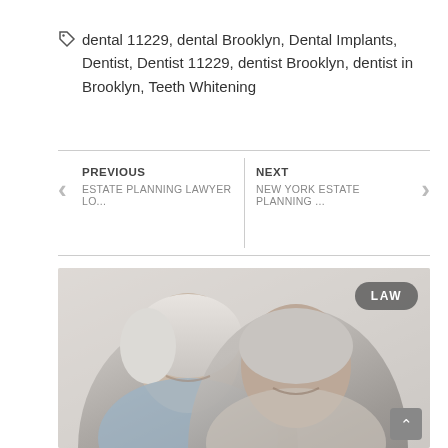dental 11229, dental Brooklyn, Dental Implants, Dentist, Dentist 11229, dentist Brooklyn, dentist in Brooklyn, Teeth Whitening
PREVIOUS
ESTATE PLANNING LAWYER LO...
NEXT
NEW YORK ESTATE PLANNING ...
[Figure (photo): Photo of an elderly couple smiling together, woman on the left with short white hair, man on the right. A 'LAW' badge appears in the upper right corner of the image.]